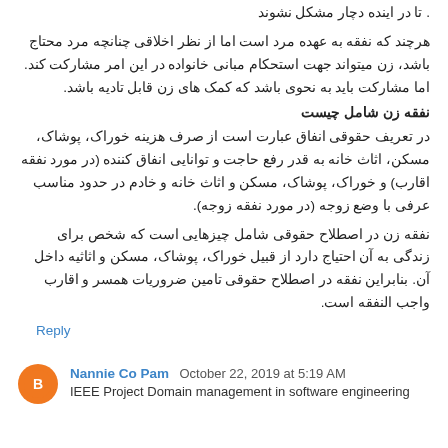. تا در اینده دچار مشکل نشوند
هرچند که نفقه به عهده مرد است اما از نظر اخلاقی چنانچه مرد محتاج باشد، زن میتواند جهت استحکام مبانی خانواده در این امر مشارکت کند. اما مشارکت باید به نحوی باشد که کمک های زن قابل تادیه باشد.
نفقه زن شامل چیست
در تعریف حقوقی انفاق عبارت است از صرف هزینه خوراک، پوشاک، مسکن، اثاث خانه به قدر رفع حاجت و توانایی انفاق کننده (در مورد نفقه اقارب) و خوراک، پوشاک، مسکن و اثاث خانه و خادم در حدود مناسب عرفی با وضع زوجه (در مورد نفقه زوجه).
نفقه زن در اصطلاح حقوقی شامل چیزهایی است که شخص برای زندگی به آن احتیاج دارد از قبیل خوراک، پوشاک، مسکن و اثاثیه داخل آن. بنابراین نفقه در اصطلاح حقوقی تامین ضروریات همسر و اقارب واجب النفقه است.
Reply
Nannie Co Pam  October 22, 2019 at 5:19 AM
IEEE Project Domain management in software engineering